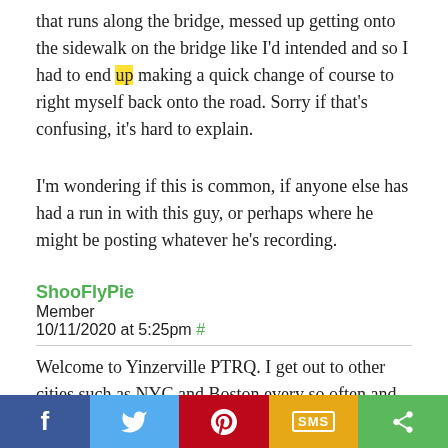that runs along the bridge, messed up getting onto the sidewalk on the bridge like I'd intended and so I had to end up making a quick change of course to right myself back onto the road. Sorry if that's confusing, it's hard to explain.
I'm wondering if this is common, if anyone else has had a run in with this guy, or perhaps where he might be posting whatever he's recording.
ShooFlyPie
Member
10/11/2020 at 5:25pm #
Welcome to Yinzerville PTRQ. I get out to other cities such as NYC and Boston every so often and never had the ridiculous
[Figure (other): Social sharing bar with five buttons: Facebook (blue), Twitter (light blue), Pinterest (red), SMS (yellow/orange), and share (green)]